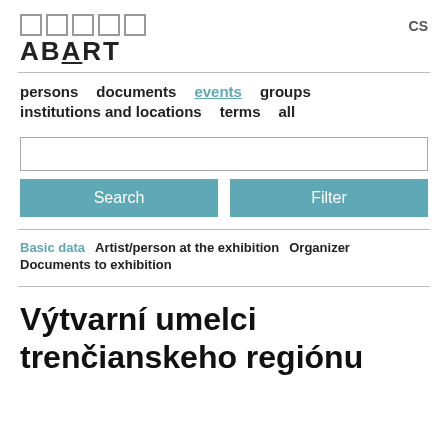[Figure (logo): ABART logo with five outlined squares above and the text ABART with A underlined]
CS
persons  documents  events  groups  institutions and locations  terms  all
Search
Filter
Basic data   Artist/person at the exhibition   Organizer   Documents to exhibition
Výtvarní umelci trenčianskeho regiónu